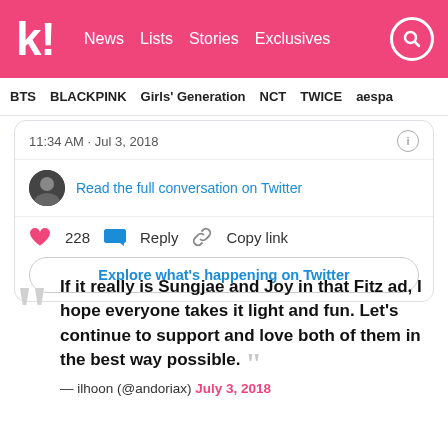k! News Lists Stories Exclusives
BTS BLACKPINK Girls' Generation NCT TWICE aespa
[Figure (screenshot): Embedded Twitter/X widget showing timestamp '11:34 AM · Jul 3, 2018', a link 'Read the full conversation on Twitter', heart icon with count 228, Reply button, Copy link button, and 'Explore what's happening on Twitter' button.]
“If it really is Sungjae and Joy in that Fitz ad, I hope everyone takes it light and fun. Let’s continue to support and love both of them in the best way possible.” — ilhoon (@andoriax) July 3, 2018